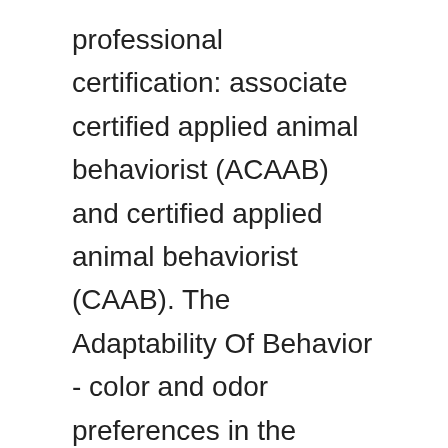professional certification: associate certified applied animal behaviorist (ACAAB) and certified applied animal behaviorist (CAAB). The Adaptability Of Behavior - color and odor preferences in the selection of nectar sources by hummingbirds. Provides information on general experimental methods and design, and on potential research opportunities in the field. Modify, remix, and reuse (just remember to cite OCW as the source. Animal Behavior and Communication (4) An integrated approach to animal behavior focusing on mechanisms of acoustic, visual, and olfactory communication. ABEH-A 200 Workshop in Animal Behavior (1 cr.) The lectures will emphasize testing